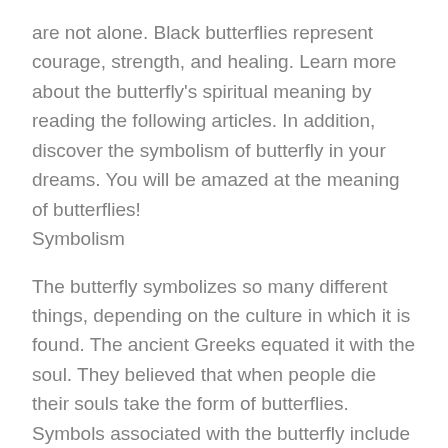are not alone. Black butterflies represent courage, strength, and healing. Learn more about the butterfly's spiritual meaning by reading the following articles. In addition, discover the symbolism of butterfly in your dreams. You will be amazed at the meaning of butterflies!
Symbolism
The butterfly symbolizes so many different things, depending on the culture in which it is found. The ancient Greeks equated it with the soul. They believed that when people die their souls take the form of butterflies. Symbols associated with the butterfly include happiness, fragility, and non-permanence. Celts also associate the butterfly with transformation, metamorphosis, and transmutation. Celtic myths also associate butterflies with the fairy realm.
The butterfly has a universal meaning. Whether you want to